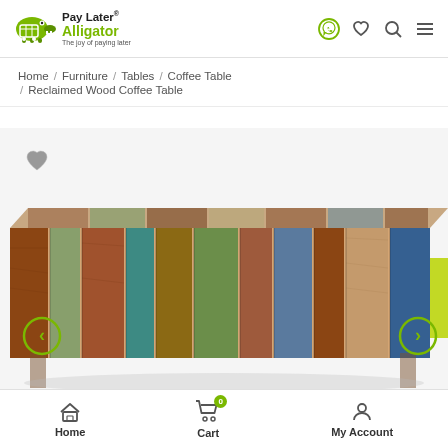Pay Later® Alligator – The joy of paying later
Home / Furniture / Tables / Coffee Table / Reclaimed Wood Coffee Table
[Figure (photo): Product photo of a Reclaimed Wood Coffee Table made from multicolored reclaimed wood planks in shades of brown, blue, teal, and red. The table is shown from an angled front perspective against a white background.]
Home   Cart  0   My Account